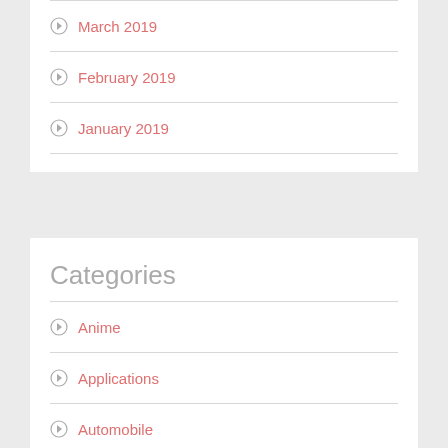March 2019
February 2019
January 2019
Categories
Anime
Applications
Automobile